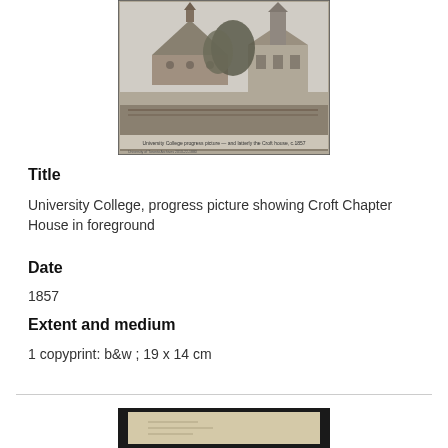[Figure (photo): Black and white photograph of University College showing Croft Chapter House in foreground, with a round stone building with conical roof and a Victorian house visible behind trees.]
Title
University College, progress picture showing Croft Chapter House in foreground
Date
1857
Extent and medium
1 copyprint: b&w ; 19 x 14 cm
[Figure (photo): Partial view of a second historical photograph, appears to show a light-colored document or photograph on a dark background.]